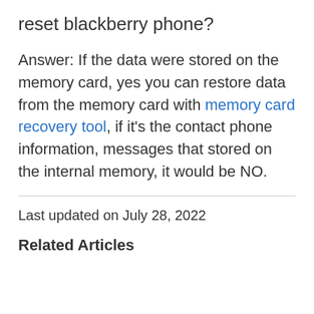reset blackberry phone?
Answer: If the data were stored on the memory card, yes you can restore data from the memory card with memory card recovery tool, if it's the contact phone information, messages that stored on the internal memory, it would be NO.
Last updated on July 28, 2022
Related Articles